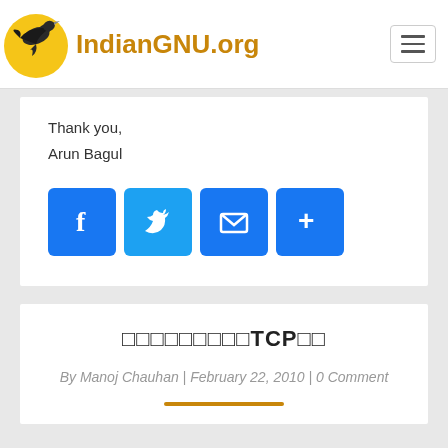IndianGNU.org
Thank you,
Arun Bagul
[Figure (infographic): Social share buttons: Facebook, Twitter, Email, More]
□□□□□□□□□TCP□□
By Manoj Chauhan | February 22, 2010 | 0 Comment